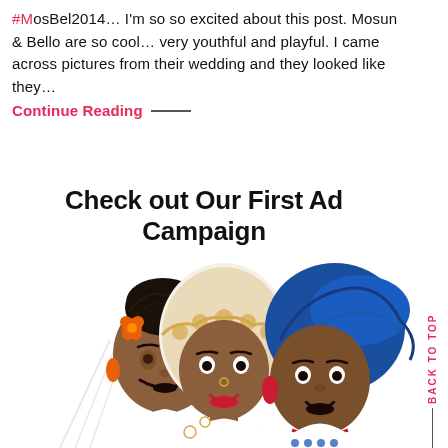#MosBel2014… I'm so so excited about this post. Mosun & Bello are so cool… very youthful and playful. I came across pictures from their wedding and they looked like they…
Continue Reading ——
Check out Our First Ad Campaign
[Figure (illustration): Cartoon/illustration of three African women in traditional wedding attire: left woman has braided updo with orange flower and orange earrings in a white veil; center woman wears a white and gold headpiece and ornate necklace; right woman wears a blue gele headwrap with red earrings. LoveWeddings NG logo and website at top of illustration.]